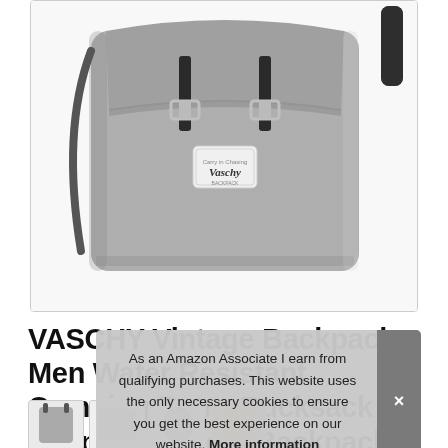[Figure (photo): A grey vintage-style VASCHY backpack with black leather straps and buckles, VASCHY brand label visible on the front flap, photographed against a white background.]
VASCHY Vintage Backpack Men Water Resistant Camping Retro Rucksack Daypack School Backpack for 15.6in La
[Figure (photo): Thumbnail images of backpacks and related product images in small squares at the bottom of the page.]
As an Amazon Associate I earn from qualifying purchases. This website uses the only necessary cookies to ensure you get the best experience on our website. More information